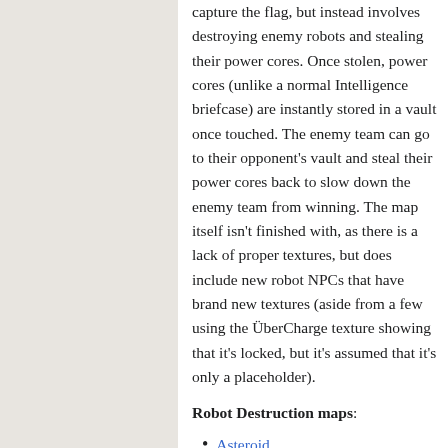capture the flag, but instead involves destroying enemy robots and stealing their power cores. Once stolen, power cores (unlike a normal Intelligence briefcase) are instantly stored in a vault once touched. The enemy team can go to their opponent's vault and steal their power cores back to slow down the enemy team from winning. The map itself isn't finished with, as there is a lack of proper textures, but does include new robot NPCs that have brand new textures (aside from a few using the ÜberCharge texture showing that it's locked, but it's assumed that it's only a placeholder).
Robot Destruction maps:
Asteroid
Raid
Main article: Raid
There are several unused game logic options found in Hammer.